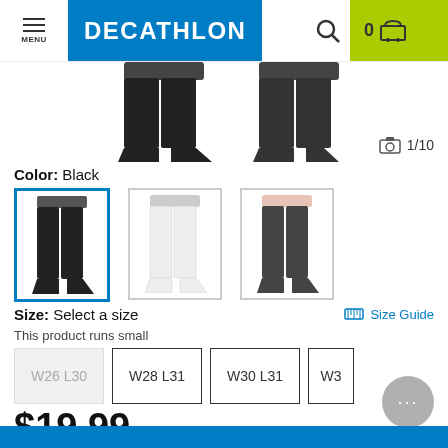[Figure (screenshot): Decathlon website header with menu button, Decathlon logo, search icon, and cart showing 0 items]
[Figure (photo): Product image showing black yoga/fitness pants, cropped view showing waistband and legs]
1/10
Color: Black
[Figure (photo): Three color variants of yoga pants: black (selected, with blue border), white, and dark grey with pink waistband]
Size: Select a size
Size Guide
This product runs small
| W26 L30 | W28 L31 | W30 L31 | W3... |
$19.99